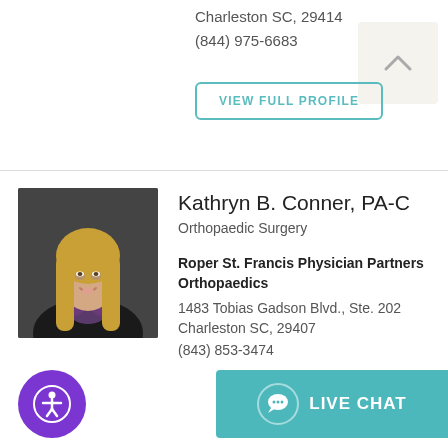Charleston SC, 29414
(844) 975-6683
VIEW FULL PROFILE
Kathryn B. Conner, PA-C
Orthopaedic Surgery
Roper St. Francis Physician Partners Orthopaedics
1483 Tobias Gadson Blvd., Ste. 202
Charleston SC, 29407
(843) 853-3474
[Figure (photo): Professional headshot of Kathryn B. Conner, PA-C, a woman with long blonde hair wearing a black top and floral scarf, against a dark gray background]
LIVE CHAT